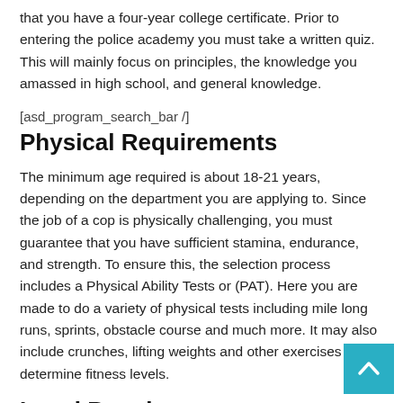that you have a four-year college certificate. Prior to entering the police academy you must take a written quiz. This will mainly focus on principles, the knowledge you amassed in high school, and general knowledge.
[asd_program_search_bar /]
Physical Requirements
The minimum age required is about 18-21 years, depending on the department you are applying to. Since the job of a cop is physically challenging, you must guarantee that you have sufficient stamina, endurance, and strength. To ensure this, the selection process includes a Physical Ability Tests or (PAT). Here you are made to do a variety of physical tests including mile long runs, sprints, obstacle course and much more. It may also include crunches, lifting weights and other exercises to determine fitness levels.
Legal Requirements
If you have a police record, then it is grounds for immediate disqualification of your application. Therefore, an